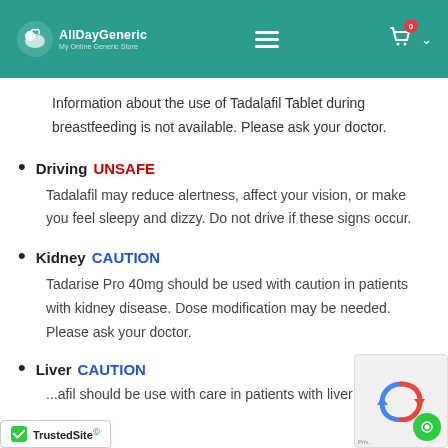AllDayGeneric — My Online Generic Store (header navigation)
Information about the use of Tadalafil Tablet during breastfeeding is not available. Please ask your doctor.
Driving UNSAFE
Tadalafil may reduce alertness, affect your vision, or make you feel sleepy and dizzy. Do not drive if these signs occur.
Kidney CAUTION
Tadarise Pro 40mg should be used with caution in patients with kidney disease. Dose modification may be needed. Please ask your doctor.
Liver CAUTION
...afil should be use with care in patients with liver...